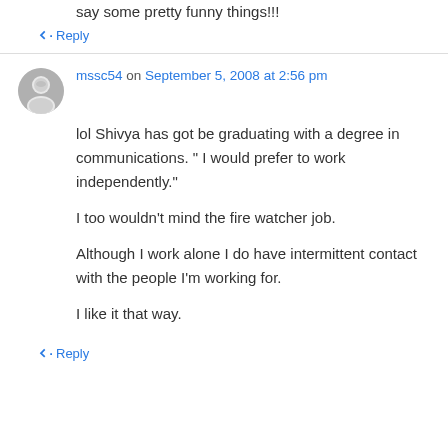say some pretty funny things!!!
↳ Reply
mssc54 on September 5, 2008 at 2:56 pm
lol Shivya has got be graduating with a degree in communications. " I would prefer to work independently."
I too wouldn't mind the fire watcher job.
Although I work alone I do have intermittent contact with the people I'm working for.
I like it that way.
↳ Reply